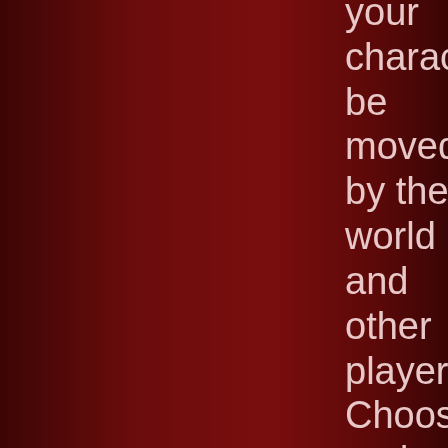your character be moved by the world and other players. Choose and play out